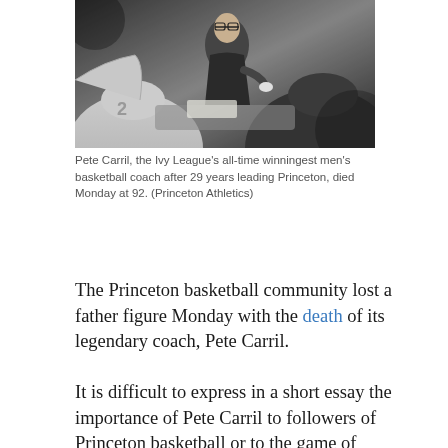[Figure (photo): Black and white photo of Pete Carril, a coach, leaning in and speaking to basketball players in jerseys. The players' backs are visible in the foreground.]
Pete Carril, the Ivy League's all-time winningest men's basketball coach after 29 years leading Princeton, died Monday at 92. (Princeton Athletics)
The Princeton basketball community lost a father figure Monday with the death of its legendary coach, Pete Carril.
It is difficult to express in a short essay the importance of Pete Carril to followers of Princeton basketball or to the game of basketball itself.  Most of the epitaphs I digested in the immediate aftermath of the news of Carril's passing emphasized his coaching